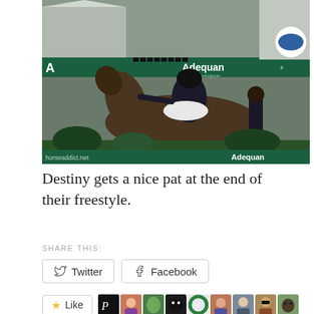[Figure (photo): A rider on a dark horse at an equestrian competition venue with Adequan sponsorship banners. A handler stands beside the horse as the rider leans forward to pat the horse. Watermark reads horseaddict.net.]
Destiny gets a nice pat at the end of their freestyle.
SHARE THIS:
Twitter  Facebook
Like  [avatars]  59 bloggers like this.